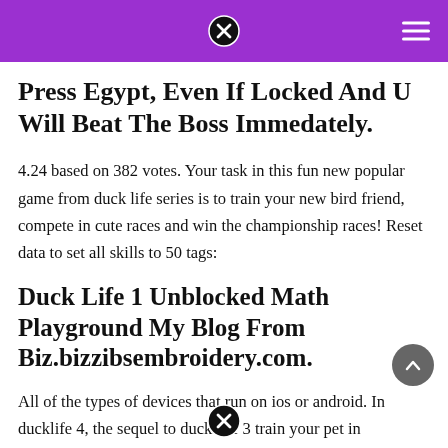Press Egypt, Even If Locked And U Will Beat The Boss Immedately.
4.24 based on 382 votes. Your task in this fun new popular game from duck life series is to train your new bird friend, compete in cute races and win the championship races! Reset data to set all skills to 50 tags:
Duck Life 1 Unblocked Math Playground My Blog From Biz.bizzibsembroidery.com.
All of the types of devices that run on ios or android. In ducklife 4, the sequel to duck life 3 train your pet in simulation